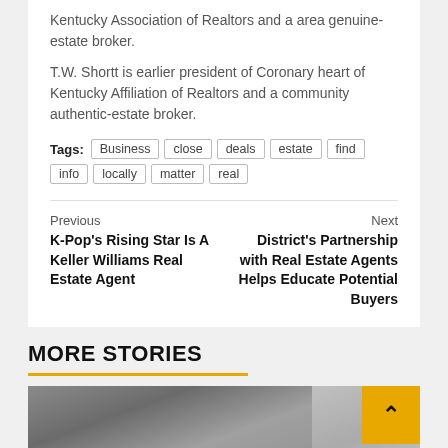Kentucky Association of Realtors and a area genuine-estate broker.
T.W. Shortt is earlier president of Coronary heart of Kentucky Affiliation of Realtors and a community authentic-estate broker.
Tags: Business  close  deals  estate  find  info  locally  matter  real
Previous
K-Pop's Rising Star Is A Keller Williams Real Estate Agent
Next
District's Partnership with Real Estate Agents Helps Educate Potential Buyers
MORE STORIES
[Figure (photo): Two men looking at something together, one wearing glasses]